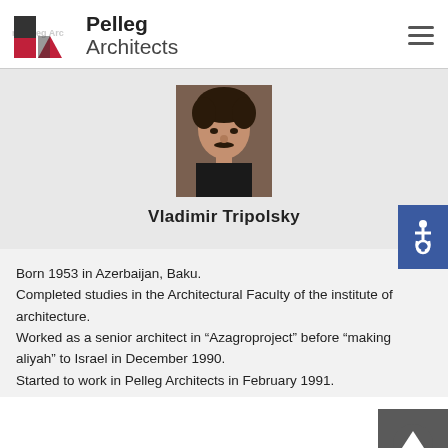Pelleg Architects
[Figure (photo): Headshot photo of Vladimir Tripolsky, a middle-aged man with curly dark hair and mustache wearing a dark shirt]
Vladimir Tripolsky
Born 1953 in Azerbaijan, Baku.
Completed studies in the Architectural Faculty of the institute of architecture.
Worked as a senior architect in “Azagroproject” before “making aliyah” to Israel in December 1990.
Started to work in Pelleg Architects in February 1991.